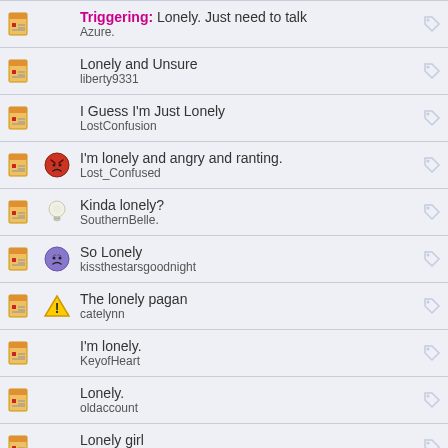Triggering: Lonely. Just need to talk
Azure.
Lonely and Unsure
liberty9331
I Guess I'm Just Lonely
LostConfusion
I'm lonely and angry and ranting.
Lost_Confused
Kinda lonely?
SouthernBelle.
So Lonely
kissthestarsgoodnight
The lonely pagan
catelynn
I'm lonely.
KeyofHeart
Lonely.
oldaccount
Lonely girl
shimmer
i feel lonely.
sassyforgaga